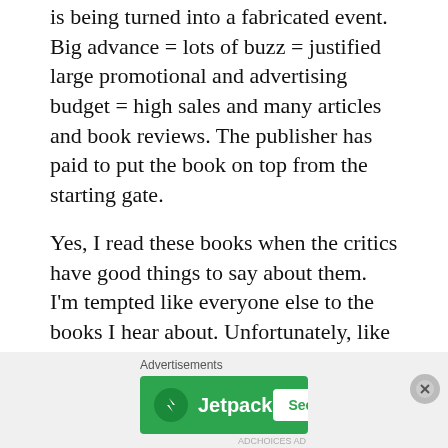is being turned into a fabricated event. Big advance = lots of buzz = justified large promotional and advertising budget = high sales and many articles and book reviews. The publisher has paid to put the book on top from the starting gate.

Yes, I read these books when the critics have good things to say about them. I'm tempted like everyone else to the books I hear about. Unfortunately, like everyone else, I miss the books I don't hear about because no
[Figure (other): Advertisement banner for Jetpack with 'Secure Your Site' button on a green background, with Advertisements label above and a close (X) button.]